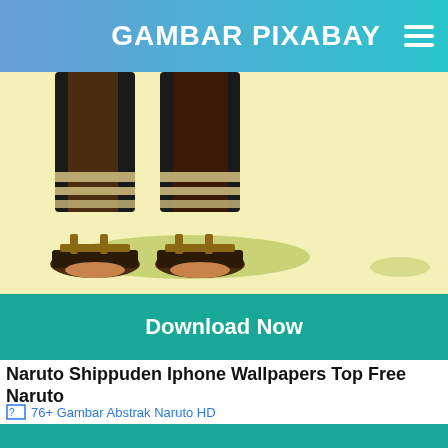GAMBAR PIXABAY
[Figure (illustration): Bottom half of anime character legs with bandaged feet and sandals, standing on yellow-green ground with shadow, on pale yellow background]
Download Now
Naruto Shippuden Iphone Wallpapers Top Free Naruto
[Figure (illustration): Broken image placeholder with link text: 76+ Gambar Abstrak Naruto HD]
Download Now
Awesome Naruto Wallpapers Wallpapers Browse